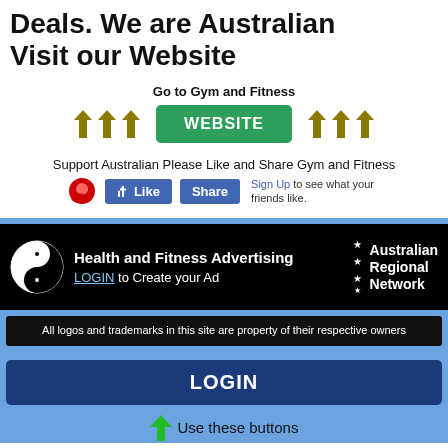Deals. We are Australian Visit our Website
Go to Gym and Fitness
[Figure (screenshot): Green WEBSITE button with yellow arrow decorations on either side]
Support Australian Please Like and Share Gym and Fitness
[Figure (screenshot): Facebook Like and Share buttons with Sign Up text and red icon]
[Figure (screenshot): Health and Fitness Advertising banner with yin-yang logo, LOGIN to Create your Ad link, and Australian Regional Network stars logo]
All logos and trademarks in this site are property of their respective owners
LOGIN
Use these buttons